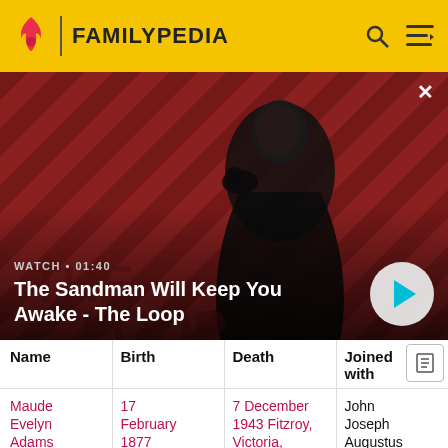FAMILYPEDIA
[Figure (screenshot): Hero banner showing a dark figure with a bird, with diagonal red/black striped background. Title: 'The Sandman Will Keep You Awake - The Loop', watch time: 01:40, with a play button overlay.]
| Name | Birth | Death | Joined with |
| --- | --- | --- | --- |
| Maude Evelyn Adams (1877-1943) | 17 February 1877 Grenfell, New South... | 7 December 1943 Fitzroy, Victoria, Australia | John Joseph Augustus O'Keeffe (1871-1904) |